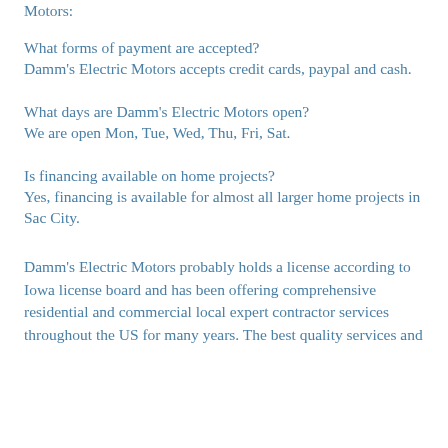Motors:
What forms of payment are accepted?
Damm's Electric Motors accepts credit cards, paypal and cash.
What days are Damm's Electric Motors open?
We are open Mon, Tue, Wed, Thu, Fri, Sat.
Is financing available on home projects?
Yes, financing is available for almost all larger home projects in Sac City.
Damm's Electric Motors probably holds a license according to Iowa license board and has been offering comprehensive residential and commercial local expert contractor services throughout the US for many years. The best quality services and